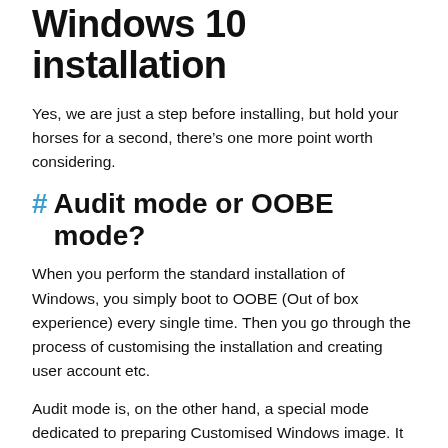Windows 10 installation
Yes, we are just a step before installing, but hold your horses for a second, there’s one more point worth considering.
# Audit mode or OOBE mode?
When you perform the standard installation of Windows, you simply boot to OOBE (Out of box experience) every single time. Then you go through the process of customising the installation and creating user account etc.
Audit mode is, on the other hand, a special mode dedicated to preparing Customised Windows image. It will e.g. automatically log in to the Administrator account, which will be removed once the work in the Audit mode has been finished.